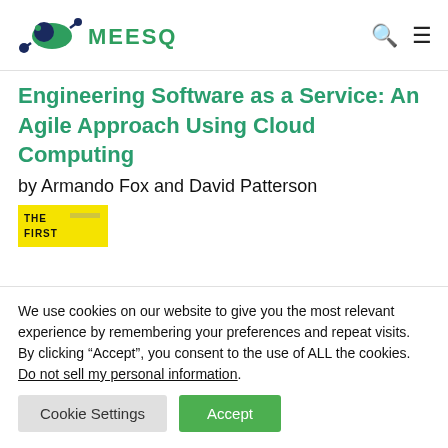MEESQA
Engineering Software as a Service: An Agile Approach Using Cloud Computing
by Armando Fox and David Patterson
[Figure (photo): Partial book cover image with yellow background showing 'THE FIRST' text]
We use cookies on our website to give you the most relevant experience by remembering your preferences and repeat visits. By clicking “Accept”, you consent to the use of ALL the cookies. Do not sell my personal information.
Cookie Settings   Accept